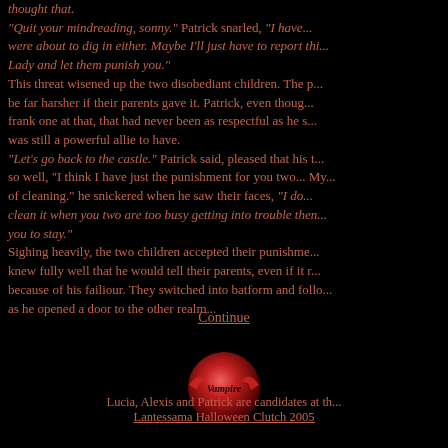thought that. "Quit your mindreading, sonny." Patrick snarled, "I have... were about to dig in either. Maybe I'll just have to report thi... Lady and let them punish you." This threat wisened up the two disobediant children. The p... be far harsher if their parents gave it. Patrick, even thou... frank one at that, that had never been as respectful as he s... was still a powerful allie to have. "Let's go back to the castle." Patrick said, pleased that his t... so well, "I think I have just the punishment for you two... My... of cleaning." he snickered when he saw their faces, "I do... clean it when you two are too busy getting into trouble then... you to stay." Sighing heavily, the two children accepted their punishme... knew fully well that he would tell their parents, even if it r... because of his failiour. They switched into batform and follo... as he opened a door to the other realm...
Continue
[Figure (logo): Red circular vampire logo with bat wings and the word 'Vampire' in script]
Lucia, Alexis and Patrick are candidates at th... Lantessama Halloween Clutch 2005